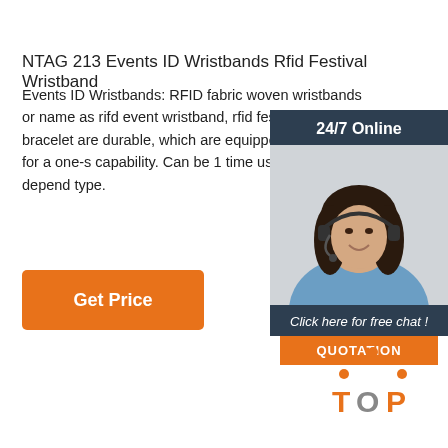NTAG 213 Events ID Wristbands Rfid Festival Wristband
Events ID Wristbands: RFID fabric woven wristbands or name as rfid event wristband, rfid festival wristband bracelet are durable, which are equipped with a slider for a one-s capability. Can be 1 time use or recycle use depend type.
[Figure (other): Orange 'Get Price' button]
[Figure (infographic): 24/7 Online chat widget with woman wearing headset, 'Click here for free chat!' text, and orange QUOTATION button]
[Figure (logo): TOP logo with orange dots arranged in arc above the word TOP in orange and grey letters]